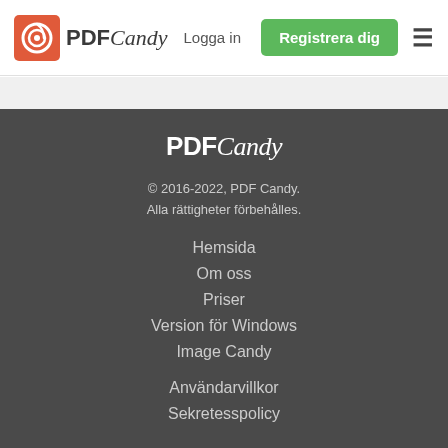PDF Candy — Logga in — Registrera dig
[Figure (logo): PDF Candy logo with lollipop icon, navigation bar with Logga in link, green Registrera dig button, and hamburger menu]
PDFCandy
© 2016-2022, PDF Candy.
Alla rättigheter förbehålles.
Hemsida
Om oss
Priser
Version för Windows
Image Candy
Användarvillkor
Sekretesspolicy